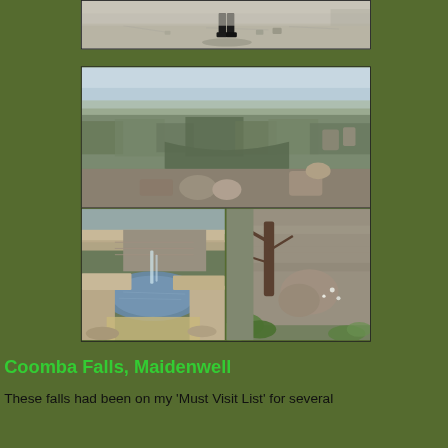[Figure (photo): Top photo showing a person standing on flat sandstone rock surface with shadow visible, rocky landscape in background]
[Figure (photo): Composite of three landscape photos: top wide panoramic view of rocky canyon/gorge with scrubby vegetation; bottom-left close-up of rocky waterfall pool with layered sandstone; bottom-right rocky cliff face with tree and boulders, green vegetation visible]
Coomba Falls, Maidenwell
These falls had been on my 'Must Visit List' for several